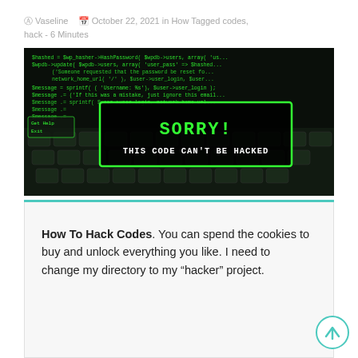Vaseline  October 22, 2021 in How Tagged codes, hack - 6 Minutes
[Figure (photo): Dark background image of a keyboard with green hacker-style code text overlay. A centered box reads 'SORRY! THIS CODE CAN'T BE HACKED' in green and white text.]
How To Hack Codes. You can spend the cookies to buy and unlock everything you like. I need to change my directory to my “hacker” project.